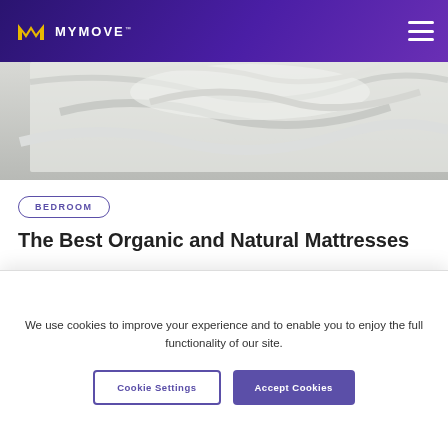MYMOVE
[Figure (photo): Close-up photo of white bedding/mattress with wrinkled sheets and duvet]
BEDROOM
The Best Organic and Natural Mattresses
As the choice to “go organic” steadily increases, Americans are actively seeking out toxin and pesticide-free foods. However, organic living goes
We use cookies to improve your experience and to enable you to enjoy the full functionality of our site.
Cookie Settings   Accept Cookies